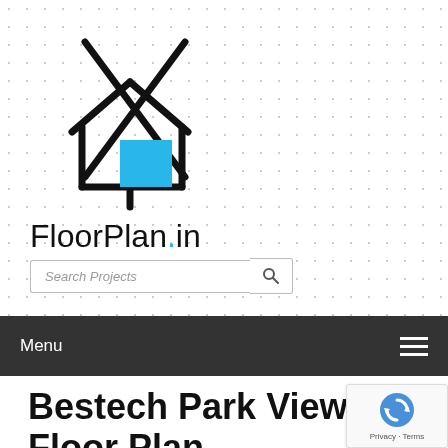[Figure (logo): FloorPlan.in logo: a stylized house outline with an X crossing through it and a blue square representing a window or door, with the text FloorPlan.in below]
[Figure (screenshot): Search Projects input box with a magnifying glass search button]
[Figure (screenshot): Dark navigation menu bar with 'Menu' text on left and hamburger icon on right]
Bestech Park View Ci… Floor Plan